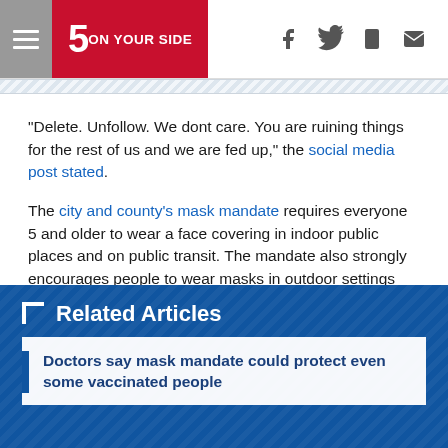5 ON YOUR SIDE
“Delete. Unfollow. We dont care. You are ruining things for the rest of us and we are fed up,” the social media post stated.
The city and county’s mask mandate requires everyone 5 and older to wear a face covering in indoor public places and on public transit. The mandate also strongly encourages people to wear masks in outdoor settings when the vaccination status of everyone is unknown.
Related Articles
Doctors say mask mandate could protect even some vaccinated people